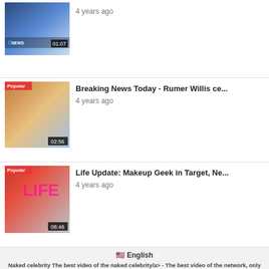[Figure (screenshot): Video thumbnail with E! News logo and duration 01:07, no Popular badge]
4 years ago
[Figure (screenshot): Video thumbnail with Popular badge and duration 02:56]
Breaking News Today - Rumer Willis ce...
4 years ago
[Figure (screenshot): Video thumbnail with Popular badge and duration 08:46]
Life Update: Makeup Geek in Target, Ne...
4 years ago
🇺🇸 English
Naked celebrity The best video of the naked celebrity/a> - The best video of the network, only the top video, look on our website, in good quality..
© Naked celebrity All rights reserved
This website uses cookies to ensure you get the best experience on our website.